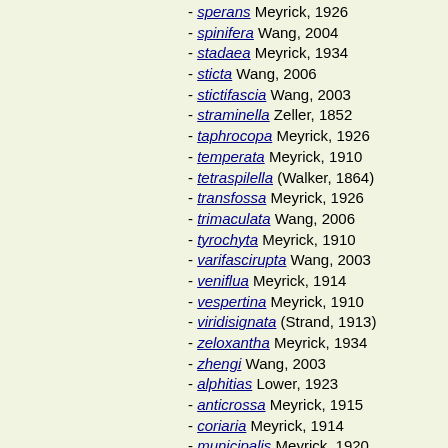- sperans Meyrick, 1926
- spinifera Wang, 2004
- stadaea Meyrick, 1934
- sticta Wang, 2006
- stictifascia Wang, 2003
- straminella Zeller, 1852
- taphrocopa Meyrick, 1926
- temperata Meyrick, 1910
- tetraspilella (Walker, 1864)
- transfossa Meyrick, 1926
- trimaculata Wang, 2006
- tyrochyta Meyrick, 1910
- varifascirupta Wang, 2003
- veniflua Meyrick, 1914
- vespertina Meyrick, 1910
- viridisignata (Strand, 1913)
- zeloxantha Meyrick, 1934
- zhengi Wang, 2003
- alphitias Lower, 1923
- anticrossa Meyrick, 1915
- coriaria Meyrick, 1914
- municipalis Meyrick, 1920
- schistopa (Meyrick, 1902)
Orophia
- ammopleura (Meyrick, 1920)